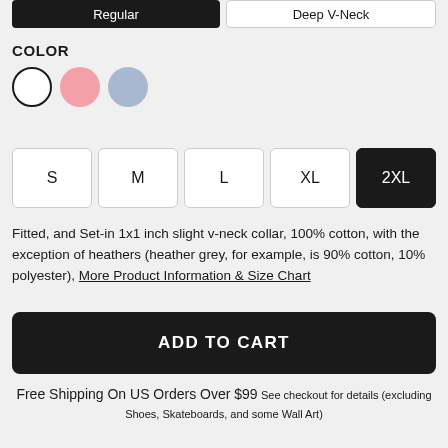Regular
Deep V-Neck
COLOR
[Figure (other): Three color swatches: white (selected with border), pink, light blue]
S
M
L
XL
2XL
Fitted, and Set-in 1x1 inch slight v-neck collar, 100% cotton, with the exception of heathers (heather grey, for example, is 90% cotton, 10% polyester), More Product Information & Size Chart
ADD TO CART
Free Shipping On US Orders Over $99 See checkout for details (excluding Shoes, Skateboards, and some Wall Art)